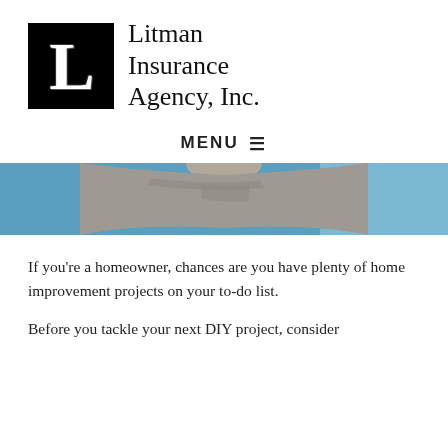[Figure (logo): Litman Insurance Agency, Inc. logo with black square containing white letter L and company name to the right]
MENU ☰
[Figure (photo): Partial photo of a person from behind wearing a grey shirt, with a blue painted wall in the background — a homeowner doing a DIY project]
If you're a homeowner, chances are you have plenty of home improvement projects on your to-do list.
Before you tackle your next DIY project, consider